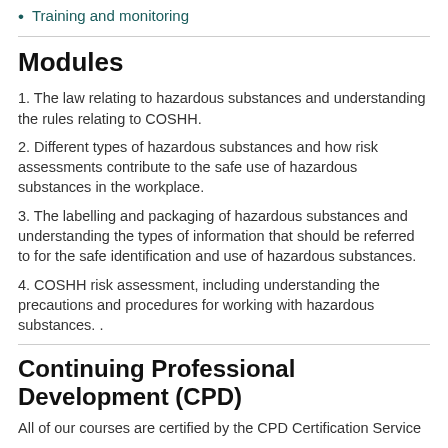Training and monitoring
Modules
1. The law relating to hazardous substances and understanding the rules relating to COSHH.
2. Different types of hazardous substances and how risk assessments contribute to the safe use of hazardous substances in the workplace.
3. The labelling and packaging of hazardous substances and understanding the types of information that should be referred to for the safe identification and use of hazardous substances.
4. COSHH risk assessment, including understanding the precautions and procedures for working with hazardous substances. .
Continuing Professional Development (CPD)
All of our courses are certified by the CPD Certification Service